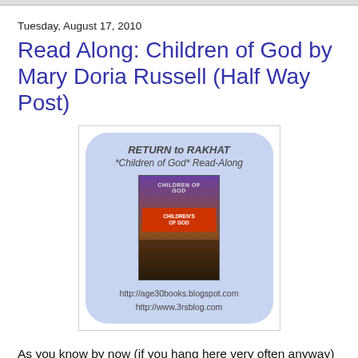Tuesday, August 17, 2010
Read Along: Children of God by Mary Doria Russell (Half Way Post)
[Figure (illustration): Book read-along badge with light blue rounded rectangle background, text 'RETURN to RAKHAT *Children of God* Read-Along', a book cover image in the center, and URLs http://age30books.blogspot.com and http://www.3rsblog.com below.]
As you know by now (if you hang here very often anyway) I'm reading this book, Children of God, which is the sequel to The Sparrow, along with a bunch of other book bloggers. A couple of days ago, Heather from Age 30+... A Lifetime of Books posted some questions on her blog to get a